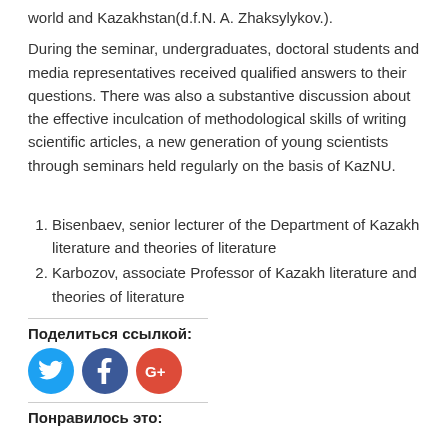world and Kazakhstan(d.f.N. A. Zhaksylykov.).
During the seminar, undergraduates, doctoral students and media representatives received qualified answers to their questions. There was also a substantive discussion about the effective inculcation of methodological skills of writing scientific articles, a new generation of young scientists through seminars held regularly on the basis of KazNU.
Bisenbaev, senior lecturer of the Department of Kazakh literature and theories of literature
Karbozov, associate Professor of Kazakh literature and theories of literature
Поделиться ссылкой:
[Figure (other): Social media share icons: Twitter (blue circle), Facebook (dark blue circle), Google+ (red circle)]
Понравилось это: